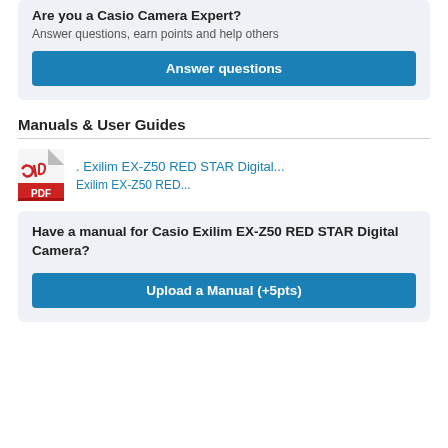Are you a Casio Camera Expert?
Answer questions, earn points and help others
Answer questions
Manuals & User Guides
. Exilim EX-Z50 RED STAR Digital...
Exilim EX-Z50 RED...
Have a manual for Casio Exilim EX-Z50 RED STAR Digital Camera?
Upload a Manual (+5pts)